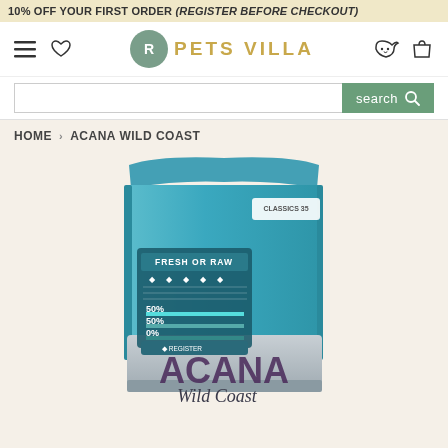10% OFF YOUR FIRST ORDER (REGISTER BEFORE CHECKOUT)
[Figure (logo): Pets Villa logo with circular green icon containing letter R and PETS VILLA brand name in gold]
[Figure (screenshot): Search bar with search button]
HOME › ACANA WILD COAST
[Figure (photo): Acana Wild Coast dog food bag in teal/turquoise color with fresh or raw label showing 50% 50% 0% ratios and ACANA Wild Coast branding]